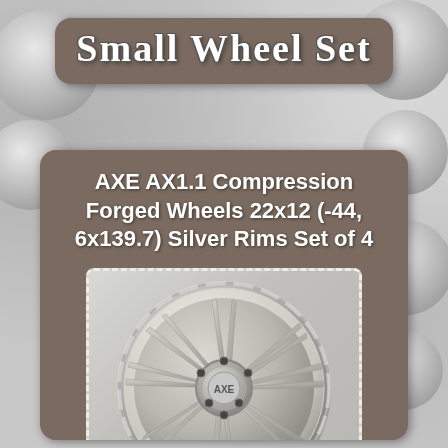Small Wheel Set
AXE AX1.1 Compression Forged Wheels 22x12 (-44, 6x139.7) Silver Rims Set of 4
[Figure (photo): Silver/chrome AXE AX1.1 compression forged wheel rim with multi-spoke design, viewed at an angle]